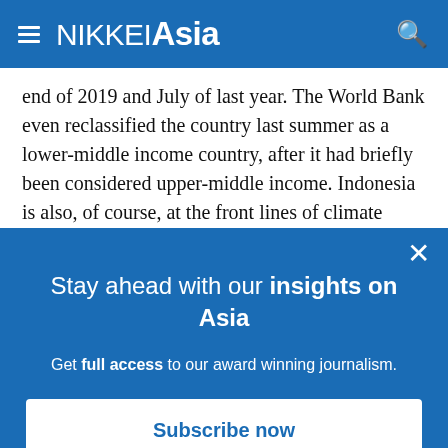NIKKEI Asia
end of 2019 and July of last year. The World Bank even reclassified the country last summer as a lower-middle income country, after it had briefly been considered upper-middle income. Indonesia is also, of course, at the front lines of climate change. Its islands are already very vulnerable to natural disasters, which can be expected to become more common as the climate shifts.
Stay ahead with our insights on Asia
Get full access to our award winning journalism.
Subscribe now